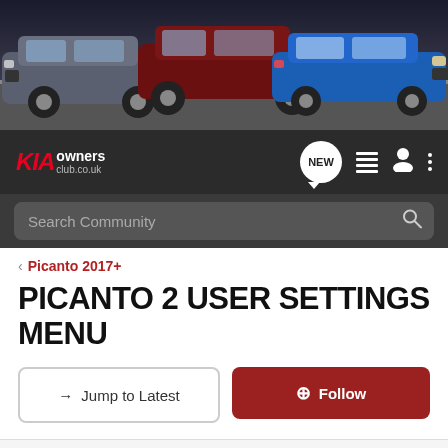[Figure (photo): Banner showing three Kia cars (grey SUV, dark red SUV, blue hatchback) on a dark background]
KIA owners club.co.uk - navigation bar with NEW, list, user, and menu icons, and Search Community search bar
< Picanto 2017+
PICANTO 2 USER SETTINGS MENU
→ Jump to Latest   ⊕ Follow
1 - 4 of 4 Posts